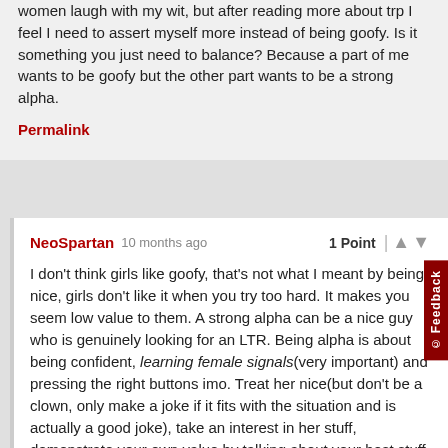women laugh with my wit, but after reading more about trp I feel I need to assert myself more instead of being goofy. Is it something you just need to balance? Because a part of me wants to be goofy but the other part wants to be a strong alpha.
Permalink
NeoSpartan 10 months ago 1 Point
I don't think girls like goofy, that's not what I meant by being nice, girls don't like it when you try too hard. It makes you seem low value to them. A strong alpha can be a nice guy who is genuinely looking for an LTR. Being alpha is about being confident, learning female signals(very important) and pressing the right buttons imo. Treat her nice(but don't be a clown, only make a joke if it fits with the situation and is actually a good joke), take an interest in her stuff, demonstrate your own value by talking about your best stuff you got going on, find excuses to touch her without going too fast but also don't hesitate and always kiss her at the end of the date if you want a second one with her. If she sucks, don't kiss her and you probably can